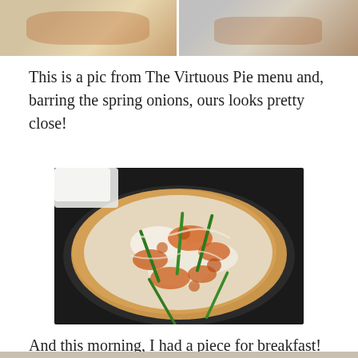[Figure (photo): Two cropped food photos at the top: left shows a pizza-like dish with toppings, right shows a slice of pizza on a plate.]
This is a pic from The Virtuous Pie menu and, barring the spring onions, ours looks pretty close!
[Figure (photo): Overhead close-up photo of a round pizza topped with white sauce, spicy orange toppings, and green spring onions/scallions.]
And this morning, I had a piece for breakfast! Stella was VERY interested!
[Figure (photo): Partially visible photo at the bottom of the page, appears to show a person or animal.]